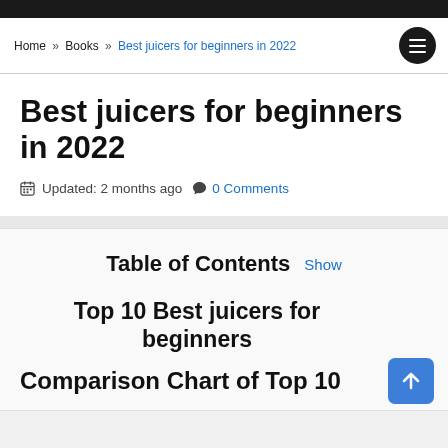Home » Books » Best juicers for beginners in 2022
Best juicers for beginners in 2022
Updated: 2 months ago  0 Comments
Table of Contents  Show
Top 10 Best juicers for beginners
Comparison Chart of Top 10